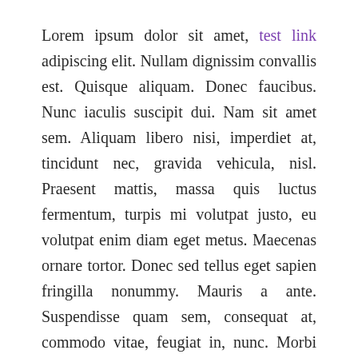Lorem ipsum dolor sit amet, test link adipiscing elit. Nullam dignissim convallis est. Quisque aliquam. Donec faucibus. Nunc iaculis suscipit dui. Nam sit amet sem. Aliquam libero nisi, imperdiet at, tincidunt nec, gravida vehicula, nisl. Praesent mattis, massa quis luctus fermentum, turpis mi volutpat justo, eu volutpat enim diam eget metus. Maecenas ornare tortor. Donec sed tellus eget sapien fringilla nonummy. Mauris a ante. Suspendisse quam sem, consequat at, commodo vitae, feugiat in, nunc. Morbi imperdiet augue quis tellus.
Lorem ipsum dolor sit amet, emphasis